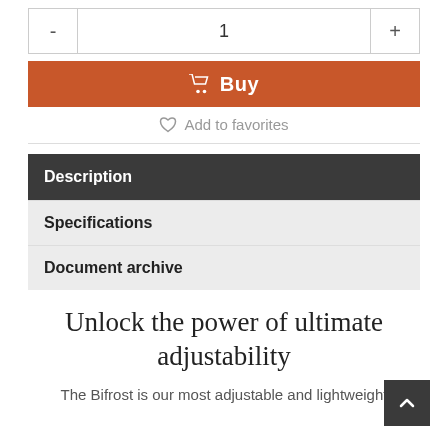- 1 +
[Figure (other): Orange Buy button with shopping cart icon]
♡ Add to favorites
Description
Specifications
Document archive
Unlock the power of ultimate adjustability
The Bifrost is our most adjustable and lightweight